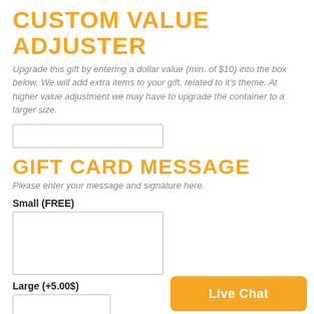CUSTOM VALUE ADJUSTER
Upgrade this gift by entering a dollar value (min. of $10) into the box below. We will add extra items to your gift, related to it's theme. At higher value adjustment we may have to upgrade the container to a larger size.
GIFT CARD MESSAGE
Please enter your message and signature here.
Small (FREE)
Large (+5.00$)